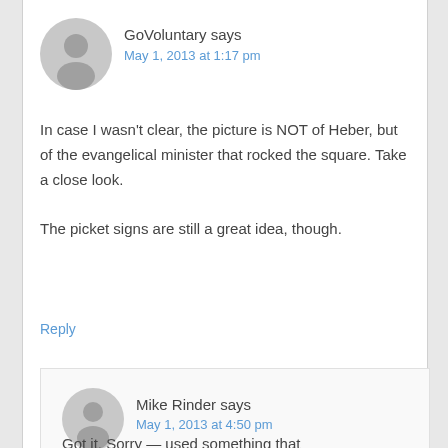GoVoluntary says
May 1, 2013 at 1:17 pm
In case I wasn't clear, the picture is NOT of Heber, but of the evangelical minister that rocked the square. Take a close look.

The picket signs are still a great idea, though.
Reply
Mike Rinder says
May 1, 2013 at 4:50 pm
Got it. Sorry — used something that